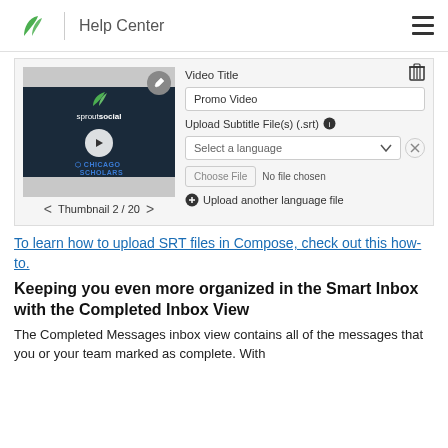Help Center
[Figure (screenshot): Screenshot of video upload interface showing a video thumbnail (Thumbnail 2/20 with SproutSocial branding), Video Title field containing 'Promo Video', Upload Subtitle File(s) (.srt) dropdown set to 'Select a language', a file chooser showing 'No file chosen', and an 'Upload another language file' link. A trash icon appears in the top right.]
To learn how to upload SRT files in Compose, check out this how-to.
Keeping you even more organized in the Smart Inbox with the Completed Inbox View
The Completed Messages inbox view contains all of the messages that you or your team marked as complete. With